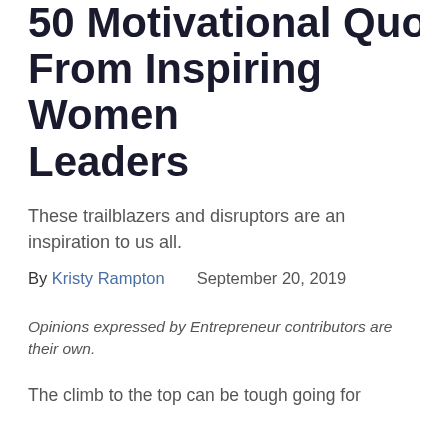50 Motivational Quotes From Inspiring Women Leaders
These trailblazers and disruptors are an inspiration to us all.
By Kristy Rampton    September 20, 2019
Opinions expressed by Entrepreneur contributors are their own.
The climb to the top can be tough going for